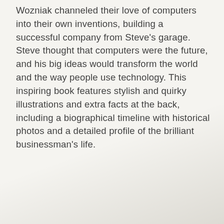Wozniak channeled their love of computers into their own inventions, building a successful company from Steve's garage. Steve thought that computers were the future, and his big ideas would transform the world and the way people use technology. This inspiring book features stylish and quirky illustrations and extra facts at the back, including a biographical timeline with historical photos and a detailed profile of the brilliant businessman's life.